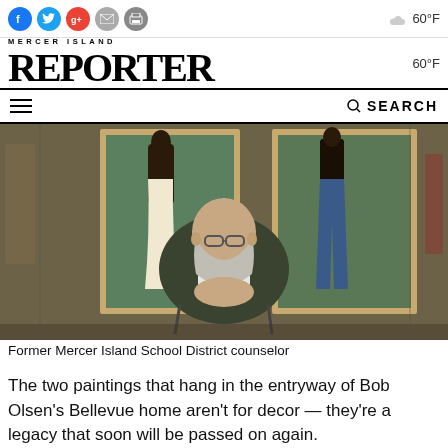Mercer Island Reporter — Social icons, weather 60°F, SEARCH
[Figure (photo): Elderly bearded man in a dark green jacket seated in a wheelchair in front of two framed paintings of Black figures in garden scenes, mounted on a wood-paneled wall.]
Former Mercer Island School District counselor
The two paintings that hang in the entryway of Bob Olsen's Bellevue home aren't for decor — they're a legacy that soon will be passed on again.